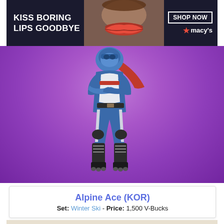[Figure (photo): Macy's advertisement banner: dark background with 'KISS BORING LIPS GOODBYE' text on left, woman's face with red lips in center, 'SHOP NOW' button and Macy's star logo on right]
[Figure (illustration): Fortnite game character Alpine Ace (KOR) on purple gradient background - wearing blue and white outfit with red scarf, black knee pads and roller blades, arms crossed]
Alpine Ace (KOR)
Set: Winter Ski - Price: 1,500 V-Bucks
[Figure (photo): MAC cosmetics advertisement showing lipsticks in purple, pink, coral and red shades with 'SHOP NOW' text in a box]